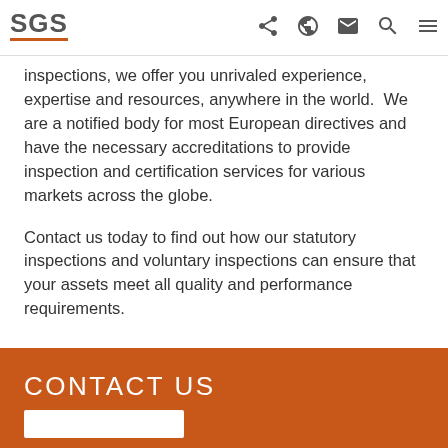SGS
inspections, we offer you unrivaled experience, expertise and resources, anywhere in the world.  We are a notified body for most European directives and have the necessary accreditations to provide inspection and certification services for various markets across the globe.
Contact us today to find out how our statutory inspections and voluntary inspections can ensure that your assets meet all quality and performance requirements.
CONTACT US